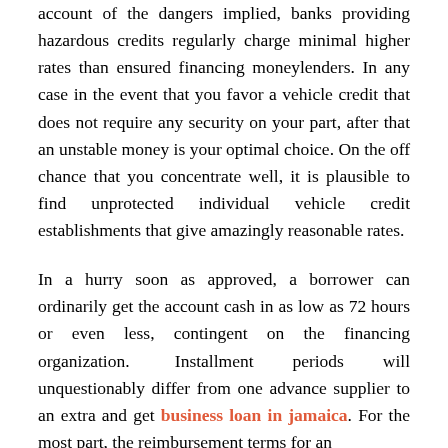account of the dangers implied, banks providing hazardous credits regularly charge minimal higher rates than ensured financing moneylenders. In any case in the event that you favor a vehicle credit that does not require any security on your part, after that an unstable money is your optimal choice. On the off chance that you concentrate well, it is plausible to find unprotected individual vehicle credit establishments that give amazingly reasonable rates.
In a hurry soon as approved, a borrower can ordinarily get the account cash in as low as 72 hours or even less, contingent on the financing organization. Installment periods will unquestionably differ from one advance supplier to an extra and get business loan in jamaica. For the most part, the reimbursement terms for an